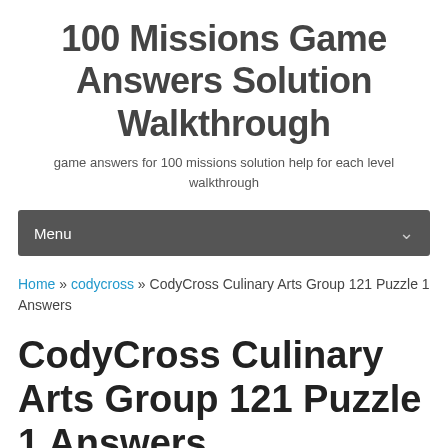100 Missions Game Answers Solution Walkthrough
game answers for 100 missions solution help for each level walkthrough
Menu
Home » codycross » CodyCross Culinary Arts Group 121 Puzzle 1 Answers
CodyCross Culinary Arts Group 121 Puzzle 1 Answers
By admin | November 3, 2017